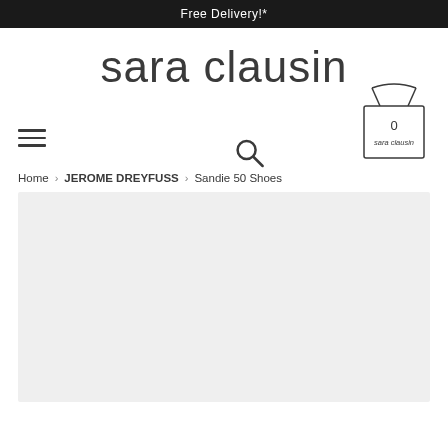Free Delivery!*
sara clausin
[Figure (screenshot): Navigation row with hamburger menu icon on the left, search icon (magnifying glass) in the center-right, and a shopping bag illustration on the far right with '0' and 'sara clausin' text on the bag]
Home > JEROME DREYFUSS > Sandie 50 Shoes
[Figure (photo): Light gray product image placeholder area]